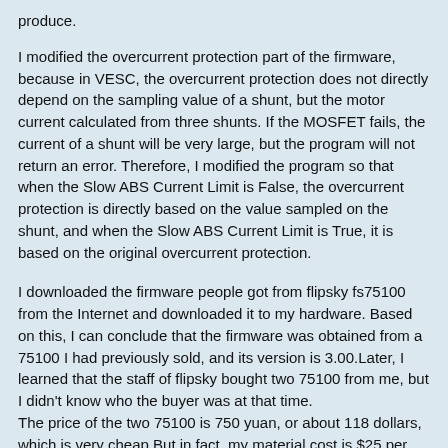produce.
I modified the overcurrent protection part of the firmware, because in VESC, the overcurrent protection does not directly depend on the sampling value of a shunt, but the motor current calculated from three shunts. If the MOSFET fails, the current of a shunt will be very large, but the program will not return an error. Therefore, I modified the program so that when the Slow ABS Current Limit is False, the overcurrent protection is directly based on the value sampled on the shunt, and when the Slow ABS Current Limit is True, it is based on the original overcurrent protection.
I downloaded the firmware people got from flipsky fs75100 from the Internet and downloaded it to my hardware. Based on this, I can conclude that the firmware was obtained from a 75100 I had previously sold, and its version is 3.00.Later, I learned that the staff of flipsky bought two 75100 from me, but I didn't know who the buyer was at that time.
The price of the two 75100 is 750 yuan, or about 118 dollars, which is very cheap.But in fact, my material cost is $25 per ESC.
The reason for publishing this article is that I saw a product very similar to the 75100 I was using on the Internet. I searched on the